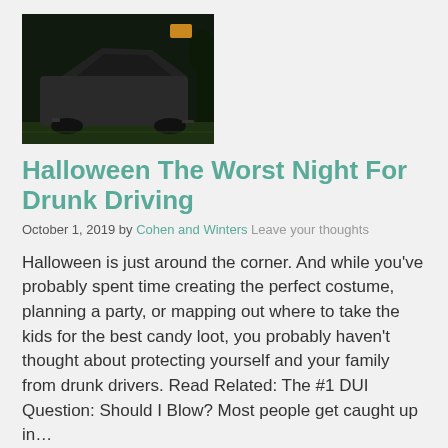[Figure (photo): Dark nighttime photo of a crashed/wrecked car on grass, appears to be a severe accident scene.]
Halloween The Worst Night For Drunk Driving
October 1, 2019 by Cohen and Winters Leave your thoughts
Halloween is just around the corner. And while you’ve probably spent time creating the perfect costume, planning a party, or mapping out where to take the kids for the best candy loot, you probably haven’t thought about protecting yourself and your family from drunk drivers. Read Related: The #1 DUI Question: Should I Blow?  Most people get caught up in…
Read More ►